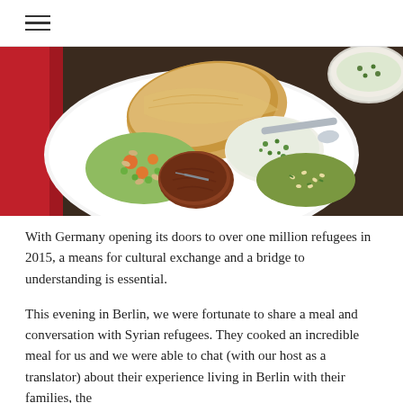≡
[Figure (photo): A white plate filled with Middle Eastern food including pita bread, a meat patty, vegetable salad with carrots and peas, tabbouleh, and a yogurt herb dip with a spoon. A bowl of yogurt sauce is visible in the background. A red tablecloth is visible on the left.]
With Germany opening its doors to over one million refugees in 2015, a means for cultural exchange and a bridge to understanding is essential.
This evening in Berlin, we were fortunate to share a meal and conversation with Syrian refugees. They cooked an incredible meal for us and we were able to chat (with our host as a translator) about their experience living in Berlin with their families, the